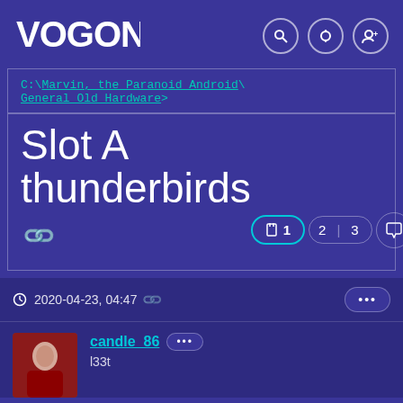VOGONS
C:\Marvin, the Paranoid Android\General Old Hardware>
Slot A thunderbirds
Pages: 1 2 3
2020-04-23, 04:47
candle_86
l33t
So I found out my Compaq slot a board supports the 1ghz Thunderbird slot a and all slower as well. Now is it worth the